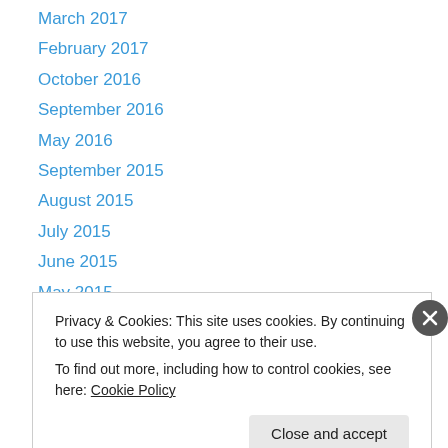March 2017
February 2017
October 2016
September 2016
May 2016
September 2015
August 2015
July 2015
June 2015
May 2015
April 2015
March 2015
February 2015
Privacy & Cookies: This site uses cookies. By continuing to use this website, you agree to their use.
To find out more, including how to control cookies, see here: Cookie Policy
Close and accept